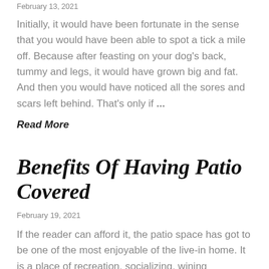February 13, 2021
Initially, it would have been fortunate in the sense that you would have been able to spot a tick a mile off. Because after feasting on your dog's back, tummy and legs, it would have grown big and fat. And then you would have noticed all the sores and scars left behind. That's only if …
Read More
Benefits Of Having Patio Covered
February 19, 2021
If the reader can afford it, the patio space has got to be one of the most enjoyable of the live-in home. It is a place of recreation, socializing, wining